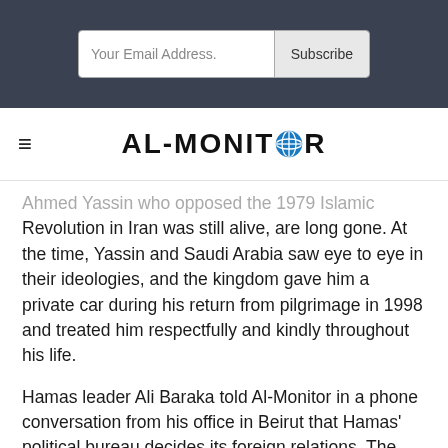[Figure (screenshot): Email subscription bar with 'Your Email Address.' input field and 'Subscribe' button on dark gray background]
[Figure (logo): AL-MONITOR logo with globe icon replacing the O, with hamburger menu icon on the left]
Ahmed Yassin who opposed the 1979 Islamic Revolution in Iran was still alive, are long gone. At the time, Yassin and Saudi Arabia saw eye to eye in their ideologies, and the kingdom gave him a private car during his return from pilgrimage in 1998 and treated him respectfully and kindly throughout his life.
Hamas leader Ali Baraka told Al-Monitor in a phone conversation from his office in Beirut that Hamas' political bureau decides its foreign relations. The bureau works on fostering ties with Arab and Muslim states, including Saudi